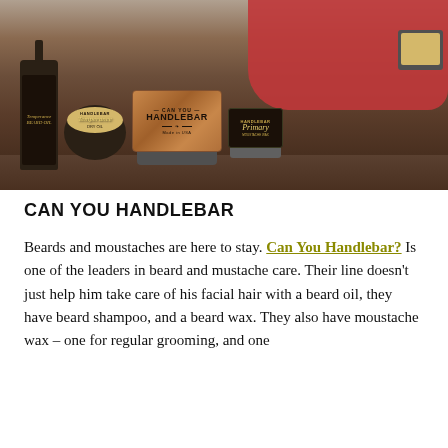[Figure (photo): Product photo showing Can You Handlebar beard and mustache care products arranged on a dark wood surface with red fabric in background. Products include a Temperance beard oil dropper bottle, Temperance dry oil tin, large Can You Handlebar wooden-lid tin, Primary mustache wax tin, and a small open tin showing yellow wax.]
CAN YOU HANDLEBAR
Beards and moustaches are here to stay. Can You Handlebar? Is one of the leaders in beard and mustache care. Their line doesn't just help him take care of his facial hair with a beard oil, they have beard shampoo, and a beard wax. They also have moustache wax – one for regular grooming, and one